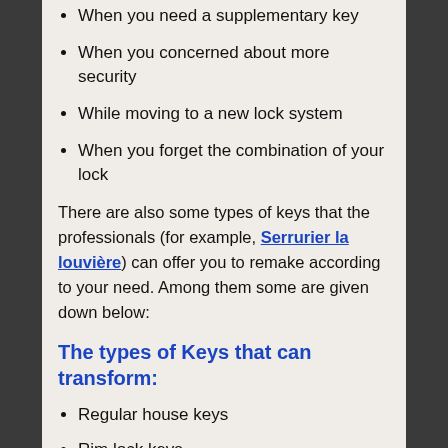When you need a supplementary key
When you concerned about more security
While moving to a new lock system
When you forget the combination of your lock
There are also some types of keys that the professionals (for example, Serrurier la louvière) can offer you to remake according to your need. Among them some are given down below:
The types of Keys that can transform:
Regular house keys
Rim lock keys
Padlock
Car door keys
Garage door manual keys